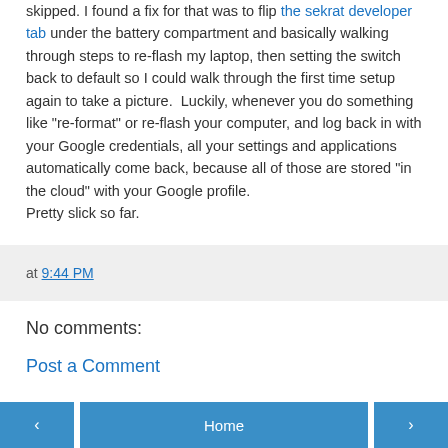skipped. I found a fix for that was to flip the sekrat developer tab under the battery compartment and basically walking through steps to re-flash my laptop, then setting the switch back to default so I could walk through the first time setup again to take a picture. Luckily, whenever you do something like "re-format" or re-flash your computer, and log back in with your Google credentials, all your settings and applications automatically come back, because all of those are stored "in the cloud" with your Google profile.
Pretty slick so far.
at 9:44 PM
No comments:
Post a Comment
< Home >